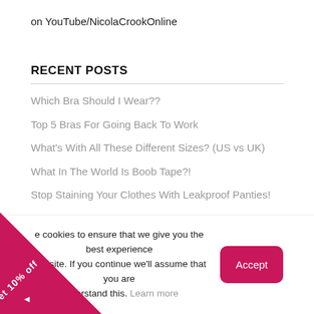on YouTube/NicolaCrookOnline
RECENT POSTS
Which Bra Should I Wear??
Top 5 Bras For Going Back To Work
What's With All These Different Sizes? (US vs UK)
What In The World Is Boob Tape?!
Stop Staining Your Clothes With Leakproof Panties!
BLOG CATEGORIES
e cookies to ensure that we give you the best experience website. If you continue we'll assume that you are understand this. Learn more